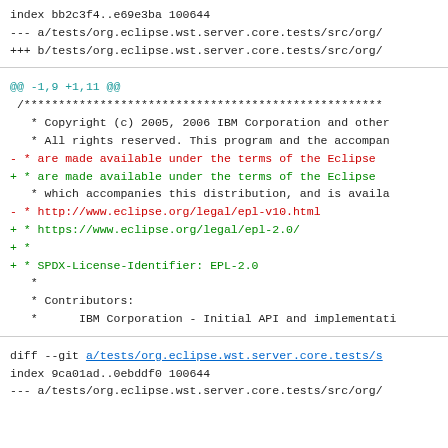index bb2c3f4..e69e3ba 100644
--- a/tests/org.eclipse.wst.server.core.tests/src/org/
+++ b/tests/org.eclipse.wst.server.core.tests/src/org/
@@ -1,9 +1,11 @@
 /****************************************************
   * Copyright (c) 2005, 2006 IBM Corporation and other
   * All rights reserved. This program and the accompan
- * are made available under the terms of the Eclipse
+ * are made available under the terms of the Eclipse
   * which accompanies this distribution, and is availa
- * http://www.eclipse.org/legal/epl-v10.html
+ * https://www.eclipse.org/legal/epl-2.0/
+ *
+ * SPDX-License-Identifier: EPL-2.0
   *
   * Contributors:
   *      IBM Corporation - Initial API and implementati
diff --git a/tests/org.eclipse.wst.server.core.tests/s
index 9ca01ad..0ebddf0 100644
--- a/tests/org.eclipse.wst.server.core.tests/src/org/